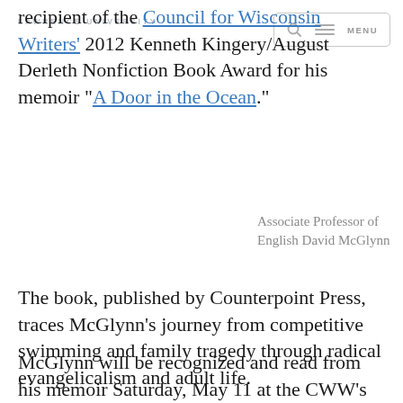LAWRENCE UNIVERSITY
recipient of the Council for Wisconsin Writers' 2012 Kenneth Kingery/August Derleth Nonfiction Book Award for his memoir “A Door in the Ocean.”
Associate Professor of English David McGlynn
The book, published by Counterpoint Press, traces McGlynn’s journey from competitive swimming and family tragedy through radical evangelicalism and adult life.
McGlynn will be recognized and read from his memoir Saturday, May 11 at the CWW’s annual awards banquet at the Wisconsin Club in